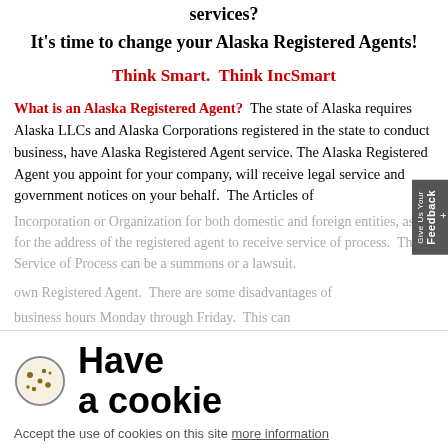services?
It's time to change your Alaska Registered Agents!
Think Smart.  Think IncSmart
What is an Alaska Registered Agent?  The state of Alaska requires Alaska LLCs and Alaska Corporations registered in the state to conduct business, have Alaska Registered Agent service. The Alaska Registered Agent you appoint for your company, will receive legal service and government notices on your behalf.  The Articles of Incorporation or Organization for both domestic and foreign entities, ask for the address of the registered agent to receive service of process.  The Service of Process can be a summons or a lawsuit.
Have a cookie
Accept the use of cookies on this site more information
I Accept